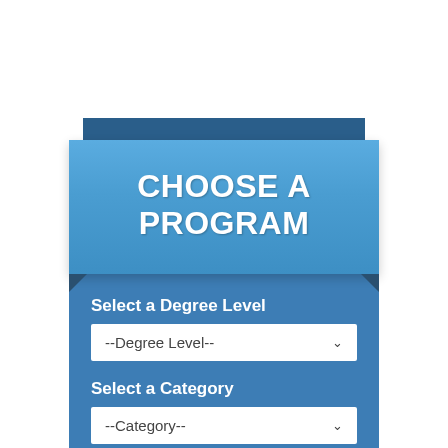CHOOSE A PROGRAM
Select a Degree Level
--Degree Level--
Select a Category
--Category--
Select a Subject